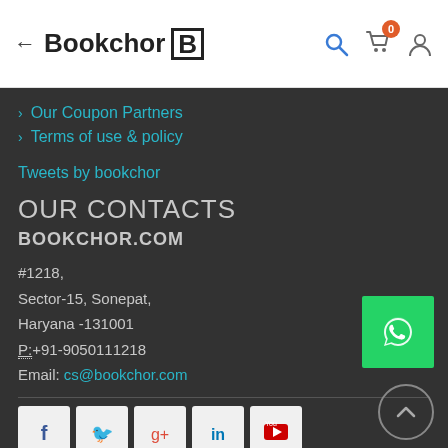← Bookchor B
> Our Coupon Partners
> Terms of use & policy
Tweets by bookchor
OUR CONTACTS
BOOKCHOR.COM
#1218,
Sector-15, Sonepat,
Haryana -131001
P:+91-9050111218
Email: cs@bookchor.com
[Figure (logo): WhatsApp icon button (green background with white phone/chat icon)]
[Figure (infographic): Social media icons row: Facebook, Twitter, Google+, LinkedIn, YouTube]
[Figure (other): Scroll-to-top circular button with upward chevron]